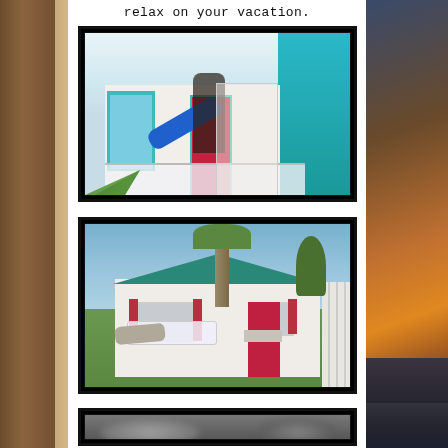relax on your vacation.
[Figure (photo): Colorful vacation cottage with teal trim, red door, and person standing on porch with decorative elements]
[Figure (photo): White cottage exterior with teal roof, red shutters and door, lounge chairs on grass, palm trees in background]
[Figure (photo): Partially blurred or obscured photo, dark/grey tones]